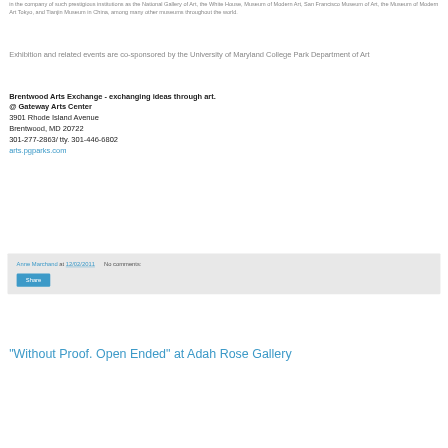in the company of such prestigious institutions as the National Gallery of Art, the White House, Museum of Modern Art, San Francisco Museum of Art, the Museum of Modern Art Tokyo, and Tianjin Museum in China, among many other museums throughout the world.
Exhibition and related events are co-sponsored by the University of Maryland College Park Department of Art
Brentwood Arts Exchange - exchanging ideas through art.
@ Gateway Arts Center
3901 Rhode Island Avenue
Brentwood, MD 20722
301-277-2863/ tty. 301-446-6802
arts.pgparks.com
Anne Marchand at 12/02/2011   No comments:
Share
"Without Proof. Open Ended" at Adah Rose Gallery